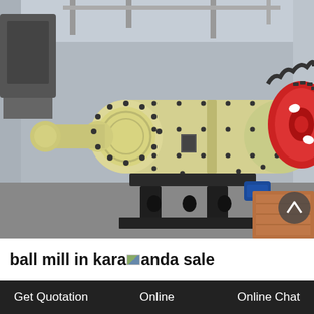[Figure (photo): A large industrial ball mill machine with a cream/yellow cylindrical drum studded with black bolts, mounted on a black steel frame. A large red gear wheel is visible on the right side. Industrial facility background.]
ball mill in karaganda sale
Get Quotation   Online   Online Chat